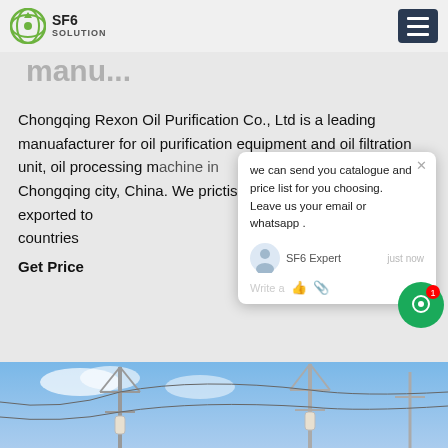SF6 SOLUTION
Chongqing Rexon Oil Purification Co., Ltd is a leading manuafacturer for oil purification equipment and oil filtration unit, oil processing machine in Chongqing city, China. We prictised near 20 years, and have exported to countries
Get Price
[Figure (screenshot): Chat popup overlay showing SF6 Expert chatbot with message: 'we can send you catalogue and price list for you choosing. Leave us your email or whatsapp .' Agent labeled 'SF6 Expert', timestamp 'just now', input field with thumbs up and paperclip icons. Green chat button with red badge showing '1' visible at right.]
[Figure (photo): Outdoor electrical substation with high voltage transmission towers, insulators and power lines against a blue sky with clouds.]